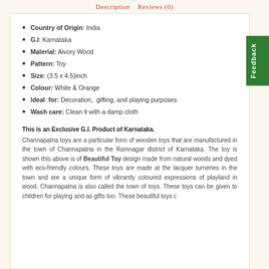Description   Reviews (0)
Country of Origin: India
G.I: Karnataka
Material: Aivory Wood
Pattern: Toy
Size: (3.5 x 4.5)inch
Colour: White & Orange
Ideal for: Decoration, gifting, and playing purposes
Wash care: Clean it with a damp cloth
This is an Exclusive G.I. Product of Karnataka. Channapatna toys are a particular form of wooden toys that are manufactured in the town of Channapatna in the Ramnagar district of Karnataka. The toy is shown this above is of Beautiful Toy design made from natural woods and dyed with eco-friendly colours. These toys are made at the lacquer turneries in the town and are a unique form of vibrantly coloured expressions of playland in wood. Channapatna is also called the town of toys. These toys can be given to children for playing and as gifts too. These beautiful toys c